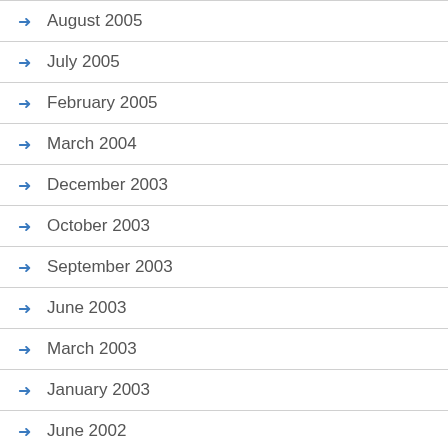August 2005
July 2005
February 2005
March 2004
December 2003
October 2003
September 2003
June 2003
March 2003
January 2003
June 2002